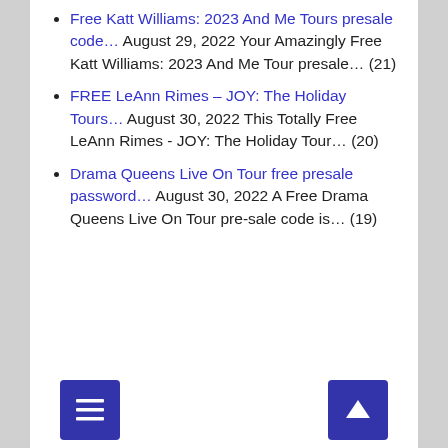Free Katt Williams: 2023 And Me Tours presale code… August 29, 2022 Your Amazingly Free Katt Williams: 2023 And Me Tour presale… (21)
FREE LeAnn Rimes – JOY: The Holiday Tours… August 30, 2022 This Totally Free LeAnn Rimes - JOY: The Holiday Tour… (20)
Drama Queens Live On Tour free presale password… August 30, 2022 A Free Drama Queens Live On Tour pre-sale code is… (19)